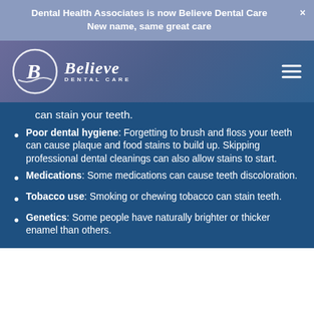Dental Health Associates is now Believe Dental Care
New name, same great care
[Figure (logo): Believe Dental Care logo with circular B emblem and italic script text]
can stain your teeth.
Poor dental hygiene: Forgetting to brush and floss your teeth can cause plaque and food stains to build up. Skipping professional dental cleanings can also allow stains to start.
Medications: Some medications can cause teeth discoloration.
Tobacco use: Smoking or chewing tobacco can stain teeth.
Genetics: Some people have naturally brighter or thicker enamel than others.